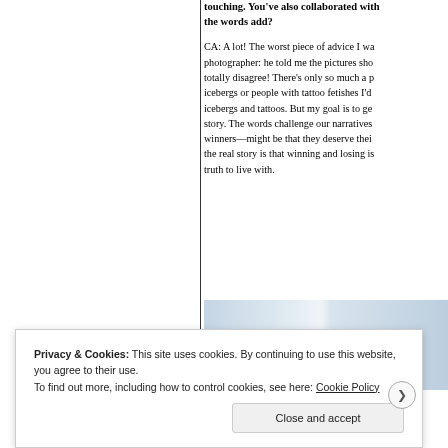touching. You've also collaborated with the words add?
CA: A lot! The worst piece of advice I wa photographer: he told me the pictures sho totally disagree! There's only so much a p icebergs or people with tattoo fetishes I'd icebergs and tattoos. But my goal is to ge story. The words challenge our narratives winners—might be that they deserve thei the real story is that winning and losing is truth to live with.
[Figure (photo): Partial image strip visible at bottom of right column, light blue/grey tones]
Privacy & Cookies: This site uses cookies. By continuing to use this website, you agree to their use. To find out more, including how to control cookies, see here: Cookie Policy
Close and accept